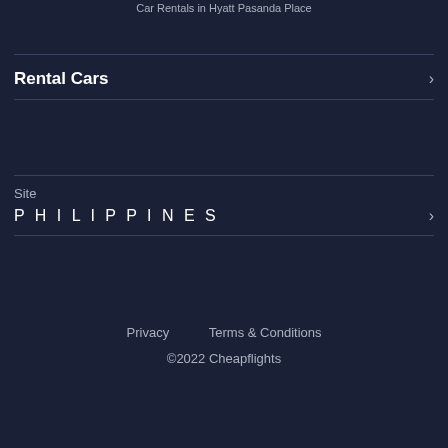Car Rentals in Hyatt Pasanda Place
Rental Cars
Site
PHILIPPINES
Privacy   Terms & Conditions
©2022 Cheapflights